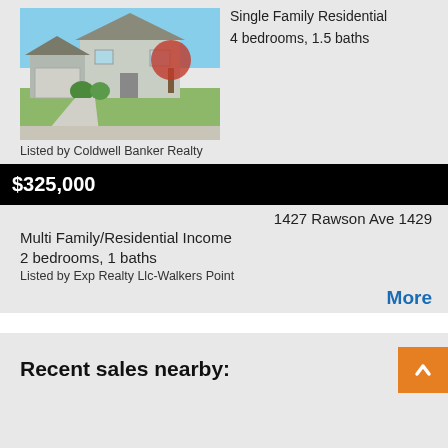[Figure (photo): Exterior photo of a single family residential house with green lawn, garage, and trees]
Single Family Residential
4 bedrooms, 1.5 baths
Listed by Coldwell Banker Realty
$325,000
1427 Rawson Ave 1429
Multi Family/Residential Income
2 bedrooms, 1 baths
Listed by Exp Realty Llc-Walkers Point
More
Recent sales nearby: